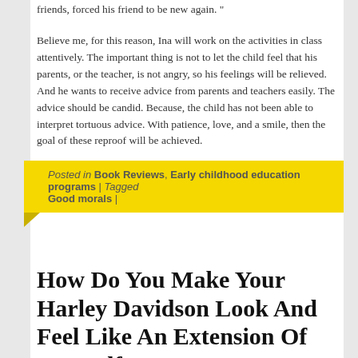friends, forced his friend to be new again. "
Believe me, for this reason, Ina will work on the activities in class attentively. The important thing is not to let the child feel that his parents, or the teacher, is not angry, so his feelings will be relieved. And he wants to receive advice from parents and teachers easily. The advice should be candid. Because, the child has not been able to interpret tortuous advice. With patience, love, and a smile, then the goal of these reproof will be achieved.
Posted in Book Reviews, Early childhood education programs | Tagged Good morals |
How Do You Make Your Harley Davidson Look And Feel Like An Extension Of Yourself!